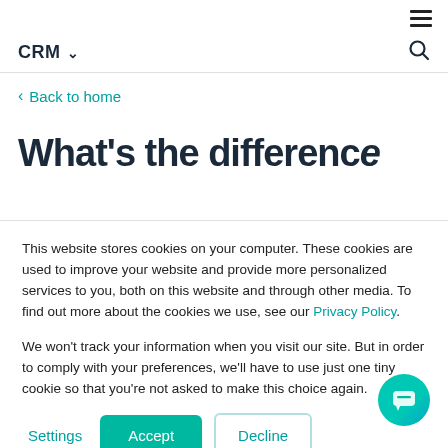☰ (hamburger menu)
CRM ∨   🔍
‹ Back to home
What's the difference
This website stores cookies on your computer. These cookies are used to improve your website and provide more personalized services to you, both on this website and through other media. To find out more about the cookies we use, see our Privacy Policy.

We won't track your information when you visit our site. But in order to comply with your preferences, we'll have to use just one tiny cookie so that you're not asked to make this choice again.
Settings   Accept   Decline